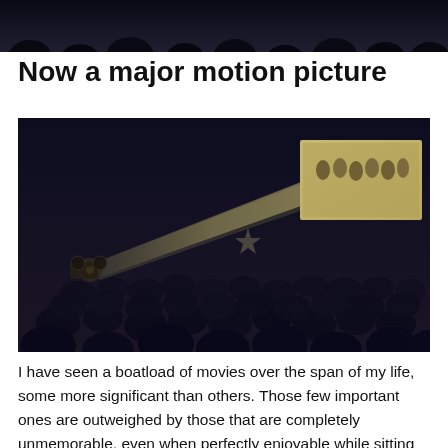[Figure (photo): A cropped black-and-white photograph showing the tops of audience members' heads and shoulders silhouetted in a darkened cinema or theatre, viewed from behind.]
Now a major motion picture
[Figure (photo): A vintage black-and-white photograph of a large cinema audience watching a film projected from a projector (visible at left), with a bright projection beam cutting across the dark theatre toward a screen in the upper right showing figures in period clothing.]
I have seen a boatload of movies over the span of my life, some more significant than others. Those few important ones are outweighed by those that are completely unmemorable, even when perfectly enjoyable while sitting